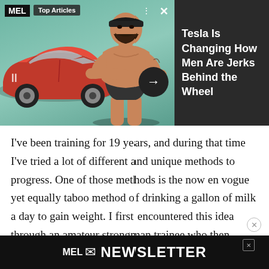[Figure (screenshot): MEL Magazine Top Articles ad banner showing a muscular shirtless man with crossed arms in front of a red Tesla car on a teal background, with navigation arrows and close button]
I've been training for 19 years, and during that time I've tried a lot of different and unique methods to progress. One of those methods is the now en vogue yet equally taboo method of drinking a gallon of milk a day to gain weight. I first encountered this idea through an amateur strongman trainee who then referred me to the Randall Strossen book Super Squats, which details the
[Figure (screenshot): MEL Newsletter sign-up bar at the bottom of the page with envelope icon and 'MEL NEWSLETTER' text in white on black background]